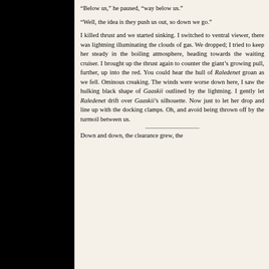“Below us,” he paused, “way below us.”
“Well, the idea is they push us out, so down we go.”
I killed thrust and we started sinking. I switched to ventral viewer, there was lightning illuminating the clouds of gas. We dropped; I tried to keep her steady in the boiling atmosphere, heading towards the waiting cruiser. I brought up the thrust again to counter the giant’s growing pull, further, up into the red. You could hear the hull of Raledenet groan as we fell. Ominous creaking. The winds were worse down here, I saw the hulking black shape of Gaaskii outlined by the lightning. I gently let Raledenet drift over Gaaskii’s silhouette. Now just to let her drop and line up with the docking clamps. Oh, and avoid being thrown off by the turmoil between us.
Down and down, the clearance grew, the